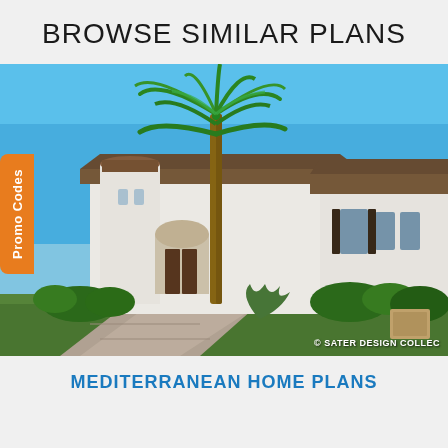BROWSE SIMILAR PLANS
[Figure (photo): Exterior photograph of a Mediterranean-style luxury home with white stucco walls, arched entryway, round tower, palm trees, and paved driveway. Watermark reads '© SATER DESIGN COLLEC'.]
Promo Codes
© SATER DESIGN COLLEC
MEDITERRANEAN HOME PLANS